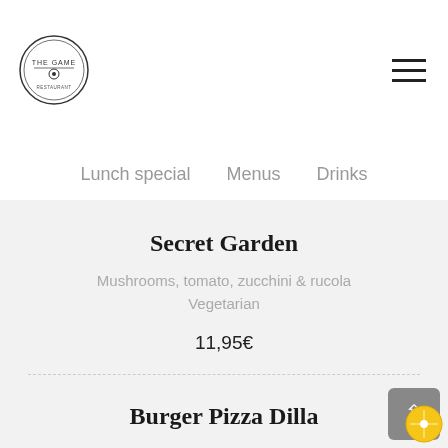[Figure (logo): The Game restaurant circular logo]
Lunch special  Menus  Drinks
Secret Garden
Mushrooms, tomato, zucchini & rucola
Vegetarian
11,95€
Burger Pizza Dilla
13,95€
La Iberica
Pork iberico plumas & manchego cheese